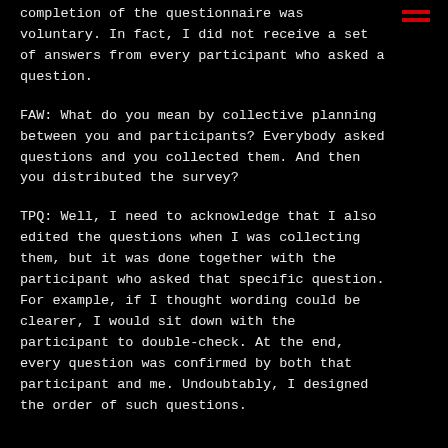completion of the questionnaire was voluntary. In fact, I did not receive a set of answers from every participant who asked a question.
FAW: What do you mean by collective planning between you and participants? Everybody asked questions and you collected them. And then you distributed the survey?
TPQ: Well, I need to acknowledge that I also edited the questions when I was collecting them, but it was done together with the participant who asked that specific question. For example, if I thought wording could be clearer, I would sit down with the participant to double-check. At the end, every question was confirmed by both that participant and me. Undoubtably, I designed the order of such questions.